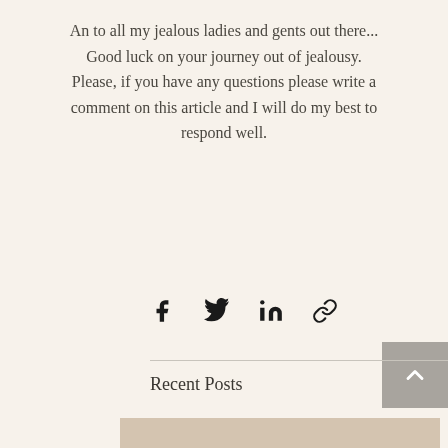An to all my jealous ladies and gents out there... Good luck on your journey out of jealousy.
Please, if you have any questions please write a comment on this article and I will do my best to respond well.
[Figure (other): Social share icons: Facebook, Twitter, LinkedIn, and a link/chain icon]
[Figure (other): Back to top button with upward chevron arrow on gray background]
Recent Posts
See All
[Figure (photo): Partial thumbnail image at bottom of page]